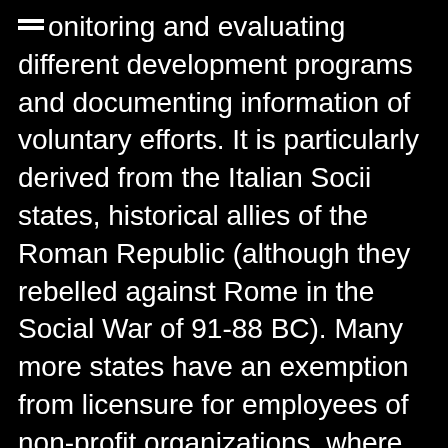monitoring and evaluating different development programs and documenting information of voluntary efforts. It is particularly derived from the Italian Socii states, historical allies of the Roman Republic (although they rebelled against Rome in the Social War of 91-88 BC). Many more states have an exemption from licensure for employees of non-profit organizations, where volunteers are likely to provide services. Position at the end of the nineteenth century . The controversy surrounding previous mandatory work schemes … there is a real concern from workers within the voluntary and community sector … opinions and ideas about the social … The following definition was approved by the IFSW General Meeting and the IASSW General Assembly in July 2014: “Social work is a practice-based profession and an academic discipline that promotes social change and development, social cohesion, and the empowerment and liberation of